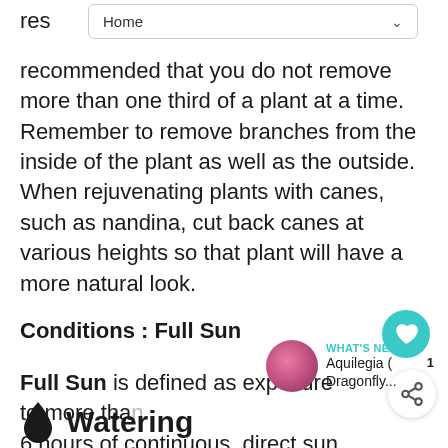Home
recommended that you do not remove more than one third of a plant at a time. Remember to remove branches from the inside of the plant as well as the outside. When rejuvenating plants with canes, such as nandina, cut back canes at various heights so that plant will have a more natural look.
Conditions : Full Sun
Full Sun is defined as exposure to more than 6 hours of continuous, direct sun per day.
Watering